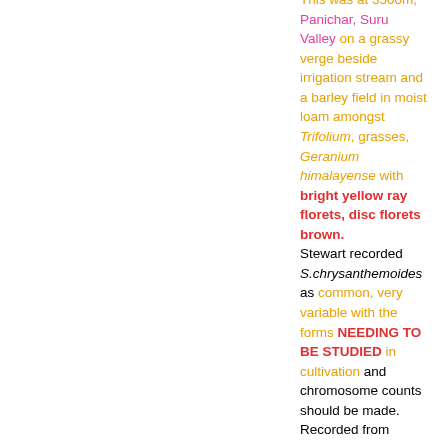This was at 3500m, Panichar, Suru Valley on a grassy verge beside irrigation stream and a barley field in moist loam amongst Trifolium, grasses, Geranium himalayense with bright yellow ray florets, disc florets brown. Stewart recorded S.chrysanthemoides as common, very variable with the forms NEEDING TO BE STUDIED in cultivation and chromosome counts should be made. Recorded from